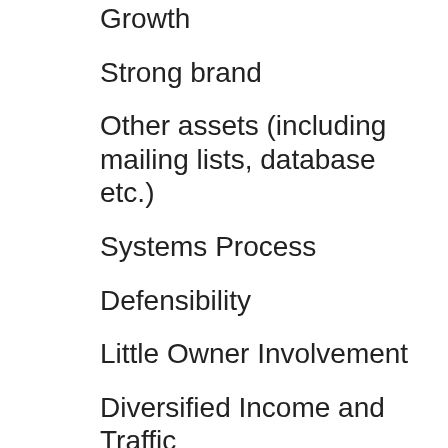Growth
Strong brand
Other assets (including mailing lists, database etc.)
Systems Process
Defensibility
Little Owner Involvement
Diversified Income and Traffic
The Process
P&L at least 3 years (including owners salary)